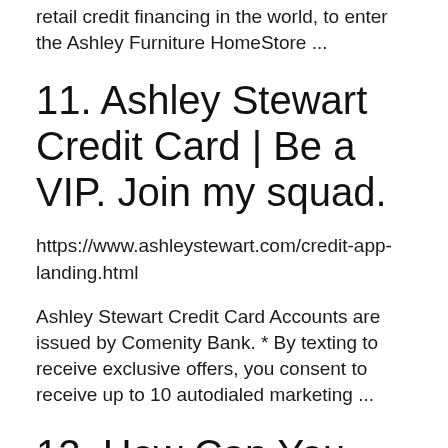retail credit financing in the world, to enter the Ashley Furniture HomeStore ...
11. Ashley Stewart Credit Card | Be a VIP. Join my squad.
https://www.ashleystewart.com/credit-app-landing.html
Ashley Stewart Credit Card Accounts are issued by Comenity Bank. * By texting to receive exclusive offers, you consent to receive up to 10 autodialed marketing ...
12. How Can You Use Ashley Furniture Credit Card Login ?